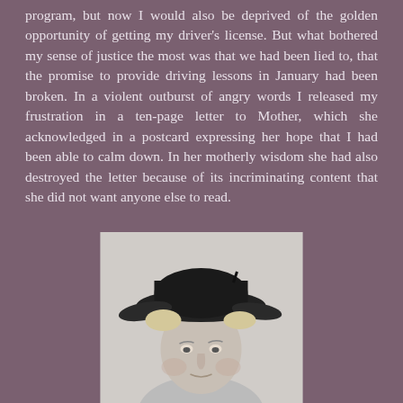program, but now I would also be deprived of the golden opportunity of getting my driver's license. But what bothered my sense of justice the most was that we had been lied to, that the promise to provide driving lessons in January had been broken. In a violent outburst of angry words I released my frustration in a ten-page letter to Mother, which she acknowledged in a postcard expressing her hope that I had been able to calm down. In her motherly wisdom she had also destroyed the letter because of its incriminating content that she did not want anyone else to read.
[Figure (photo): Black and white portrait photograph of a person wearing a dark wide-brimmed hat, looking slightly upward, with light-colored hair visible]